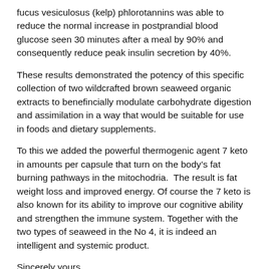fucus vesiculosus (kelp) phlorotannins was able to reduce the normal increase in postprandial blood glucose seen 30 minutes after a meal by 90% and consequently reduce peak insulin secretion by 40%.
These results demonstrated the potency of this specific collection of two wildcrafted brown seaweed organic extracts to benefincially modulate carbohydrate digestion and assimilation in a way that would be suitable for use in foods and dietary supplements.
To this we added the powerful thermogenic agent 7 keto in amounts per capsule that turn on the body’s fat burning pathways in the mitochodria.  The result is fat weight loss and improved energy. Of course the 7 keto is also known for its ability to improve our cognitive ability and strengthen the immune system. Together with the two types of seaweed in the No 4, it is indeed an intelligent and systemic product.
Sincerely yours,
Seann Bardell
Clinical Notes:  Take one capsule BID 1/2 hour before your two largest carb meals.